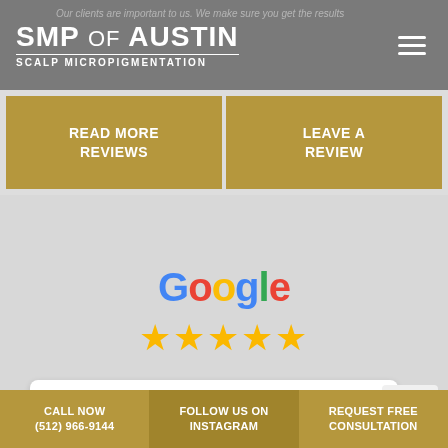SMP of AUSTIN - SCALP MICROPIGMENTATION
Our clients are important to us. We make sure you get the results...
READ MORE REVIEWS
LEAVE A REVIEW
[Figure (logo): Google logo with five gold stars rating]
Laura Alvarez
CALL NOW (512) 966-9144 | FOLLOW US ON INSTAGRAM | REQUEST FREE CONSULTATION